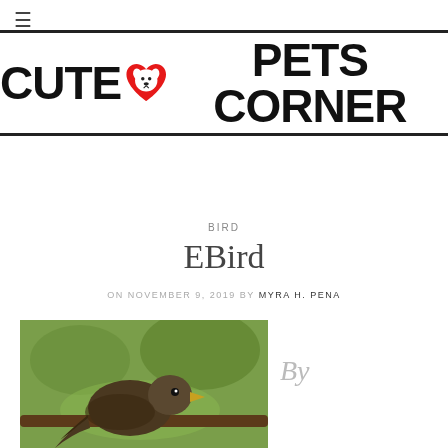≡
[Figure (logo): Cute Pets Corner logo with red heart containing dog face icon, bold black uppercase text]
BIRD
EBird
ON NOVEMBER 9, 2019 BY MYRA H. PENA
[Figure (photo): Close-up photo of a bird on a branch with blurred background]
By